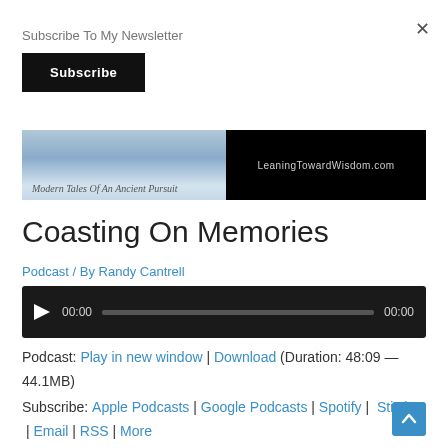Subscribe To My Newsletter
Subscribe
[Figure (screenshot): Podcast banner image showing cloudy sky on the left with text 'Modern Tales Of An Ancient Pursuit' and black right side with text 'LeaningTowardWisdom.com']
Coasting On Memories
Podcast / By Randy Cantrell
[Figure (other): Audio player with play button, time display 00:00, progress bar, and end time 00:00]
Podcast: Play in new window | Download (Duration: 48:09 — 44.1MB)
Subscribe: Apple Podcasts | Google Podcasts | Spotify | Stitcher | Email | RSS | More